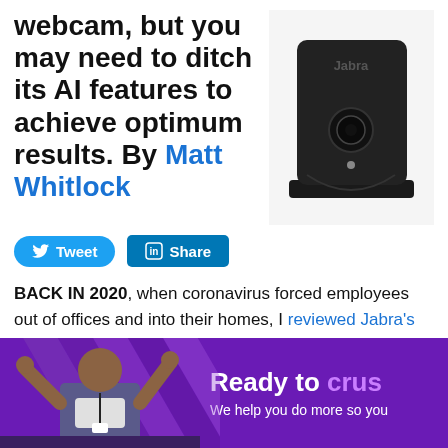webcam, but you may need to ditch its AI features to achieve optimum results. By Matt Whitlock
[Figure (photo): Jabra PanaCast webcam, a black boxy camera device on a stand, shown on a white background]
Tweet | Share
BACK IN 2020, when coronavirus forced employees out of offices and into their homes, I reviewed Jabra's PanaCast videoconferencing solution. It's the size of a normal webcam but packed with three separate cameras (intelligently
[Figure (photo): Advertisement banner with purple background showing a man at a desk with raised hands and text 'Ready to crus' and 'We help you do more so you']